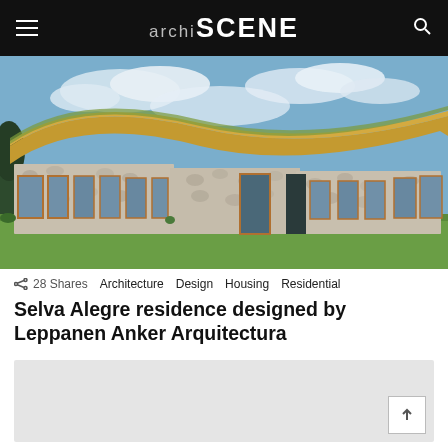archi SCENE
[Figure (photo): Exterior photograph of the Selva Alegre residence — a low, sprawling building with a distinctive undulating wooden roof covered with grass/moss, stone walls, large wooden-framed glass windows and doors, set against a green lawn and blue sky with clouds.]
28 Shares   Architecture   Design   Housing   Residential
Selva Alegre residence designed by Leppanen Anker Arquitectura
[Figure (other): Gray placeholder/advertisement box with a scroll-to-top button in the bottom right corner.]